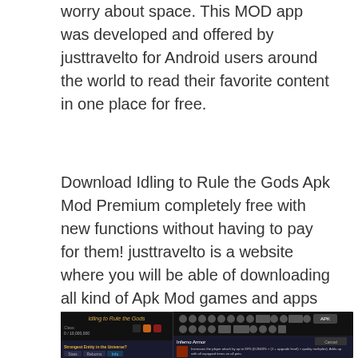worry about space. This MOD app was developed and offered by justtravelto for Android users around the world to read their favorite content in one place for free.
Download Idling to Rule the Gods Apk Mod Premium completely free with new functions without having to pay for them! justtravelto is a website where you will be able of downloading all kind of Apk Mod games and apps for Android completely for free. These apps would be also available on Google Play, but not for free.
[Figure (screenshot): Screenshot of the Idling to Rule the Gods game app interface showing game title, class info, icons, and Inferno Armor item description on a dark background.]